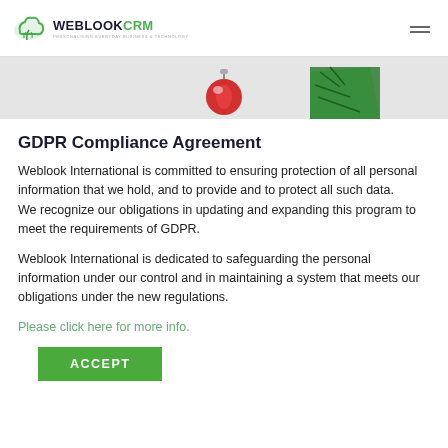WEBLOOKCRM — Personalising Everyday Business & Technology
[Figure (photo): Banner image showing a red Christmas ornament and green pine tree branches against a light grey background]
GDPR Compliance Agreement
Weblook International is committed to ensuring protection of all personal information that we hold, and to provide and to protect all such data.
We recognize our obligations in updating and expanding this program to meet the requirements of GDPR.
Weblook International is dedicated to safeguarding the personal information under our control and in maintaining a system that meets our obligations under the new regulations.
Please click here for more info.
ACCEPT